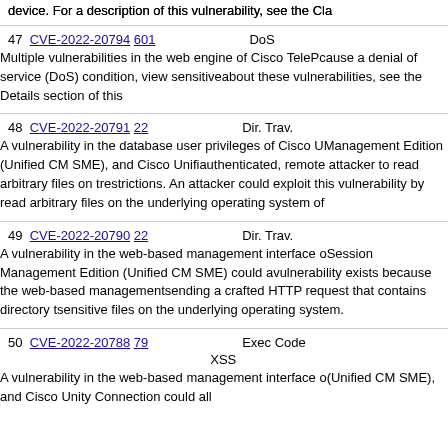device. For a description of this vulnerability, see the Cla
| # | CVE | Type | Score |
| --- | --- | --- | --- |
| 47 | CVE-2022-20794 601 | DoS |  |
|  | Multiple vulnerabilities in the web engine of Cisco TelePresence could cause a denial of service (DoS) condition, view sensitive... about these vulnerabilities, see the Details section of this... |  |  |
| 48 | CVE-2022-20791 22 | Dir. Trav. |  |
|  | A vulnerability in the database user privileges of Cisco Unified Communications Manager, Unified Communications Manager Session Management Edition (Unified CM SME), and Cisco Unified... authenticated, remote attacker to read arbitrary files on the... restrictions. An attacker could exploit this vulnerability by... read arbitrary files on the underlying operating system of... |  |  |
| 49 | CVE-2022-20790 22 | Dir. Trav. |  |
|  | A vulnerability in the web-based management interface of Cisco Unified Communications Manager Session Management Edition (Unified CM SME) could allow... vulnerability exists because the web-based management... sending a crafted HTTP request that contains directory t... sensitive files on the underlying operating system. |  |  |
| 50 | CVE-2022-20788 79 | Exec Code XSS |  |
|  | A vulnerability in the web-based management interface of... (Unified CM SME), and Cisco Unity Connection could al... |  |  |